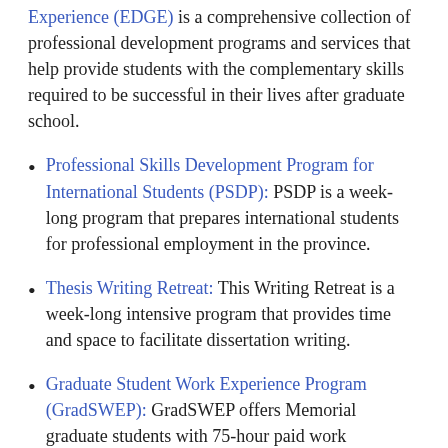Experience (EDGE) is a comprehensive collection of professional development programs and services that help provide students with the complementary skills required to be successful in their lives after graduate school.
Professional Skills Development Program for International Students (PSDP): PSDP is a week-long program that prepares international students for professional employment in the province.
Thesis Writing Retreat: This Writing Retreat is a week-long intensive program that provides time and space to facilitate dissertation writing.
Graduate Student Work Experience Program (GradSWEP): GradSWEP offers Memorial graduate students with 75-hour paid work experience placement...